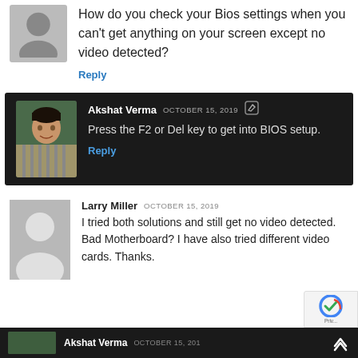How do you check your Bios settings when you can't get anything on your screen except no video detected?
Reply
Akshat Verma OCTOBER 15, 2019 Press the F2 or Del key to get into BIOS setup. Reply
Larry Miller OCTOBER 15, 2019 I tried both solutions and still get no video detected. Bad Motherboard? I have also tried different video cards. Thanks.
Akshat Verma OCTOBER 15, 201...